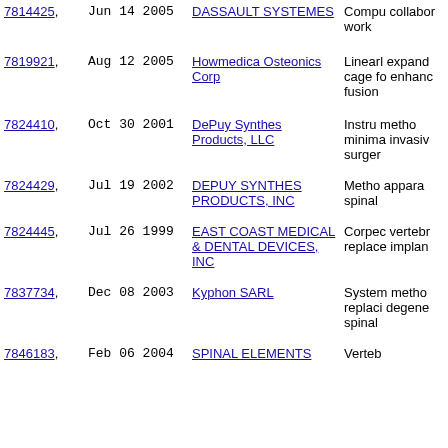| Patent | Date | Assignee | Description |
| --- | --- | --- | --- |
| 7814425, | Jun 14 2005 | DASSAULT SYSTEMES | Compu collabor work |
| 7819921, | Aug 12 2005 | Howmedica Osteonics Corp | Linearl expand cage fo enhanc fusion |
| 7824410, | Oct 30 2001 | DePuy Synthes Products, LLC | Instrum metho minima invasiv surger |
| 7824429, | Jul 19 2002 | DEPUY SYNTHES PRODUCTS, INC | Metho appara spinal |
| 7824445, | Jul 26 1999 | EAST COAST MEDICAL & DENTAL DEVICES, INC | Corpec vertebr replace implan |
| 7837734, | Dec 08 2003 | Kyphon SARL | System metho replaci degene spinal |
| 7846183, | Feb 06 2004 | SPINAL ELEMENTS | Verteb |